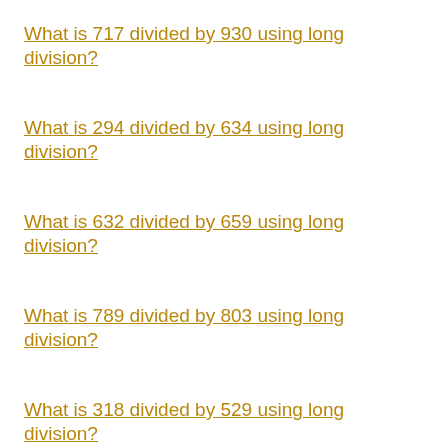What is 717 divided by 930 using long division?
What is 294 divided by 634 using long division?
What is 632 divided by 659 using long division?
What is 789 divided by 803 using long division?
What is 318 divided by 529 using long division?